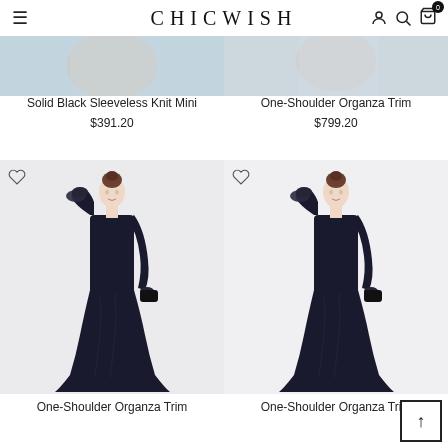CHICWISH
[Figure (photo): Partial product images at top: left shows a light blue/grey cropped photo of a model, right shows a similar light-toned cropped photo]
Solid Black Sleeveless Knit Mini
$391.20
One-Shoulder Organza Trim
$799.20
[Figure (photo): Model wearing a dark navy/black one-shoulder organza trim long gown with mermaid silhouette, holding a clutch]
[Figure (photo): Model wearing a dark navy/black one-shoulder organza trim long gown with mermaid silhouette, holding a clutch, lighter background]
One-Shoulder Organza Trim
One-Shoulder Organza Trim